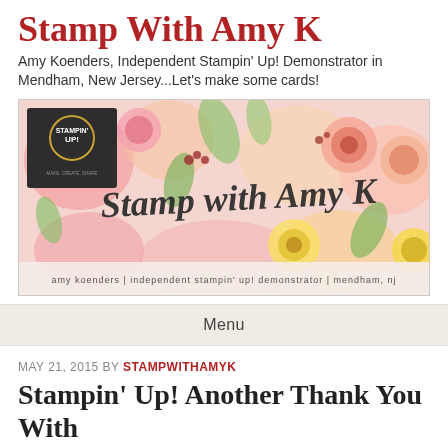Stamp With Amy K
Amy Koenders, Independent Stampin' Up! Demonstrator in Mendham, New Jersey...Let's make some cards!
[Figure (illustration): Banner image for Stamp With Amy K blog featuring floral watercolor background with pink, yellow, and green flowers. Script text reads 'Stamp with Amy K' in the center. Bottom text reads 'amy koenders | independent stampin' up! demonstrator | mendham, nj'. Stampin' Up! logo in top left corner.]
Menu
MAY 21, 2015 BY STAMPWITHAMYK
Stampin’ Up! Another Thank You With Neutrals DSP Stack